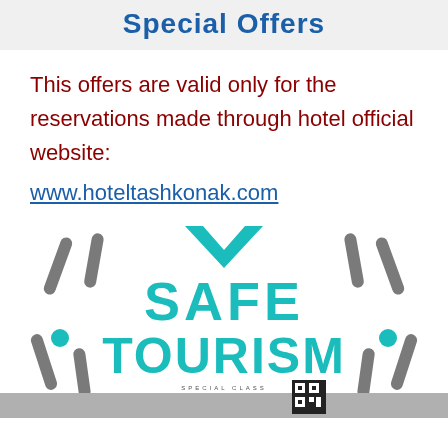Special Offers
This offers are valid only for the reservations made through hotel official website:
www.hoteltashkonak.com
[Figure (logo): Safe Tourism Special Class Hotel Tashkonak certification badge with teal chevron, bracket arms, teal SAFE TOURISM text, and QR code]